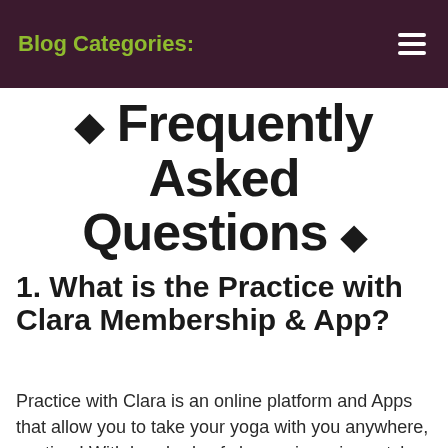Blog Categories:
◇ Frequently Asked Questions ◇
1. What is the Practice with Clara Membership & App?
Practice with Clara is an online platform and Apps that allow you to take your yoga with you anywhere, anytime! With hundreds of classes in various styles, including Hatha, Vinyasa, Restorative, Yin, Prenatal, and